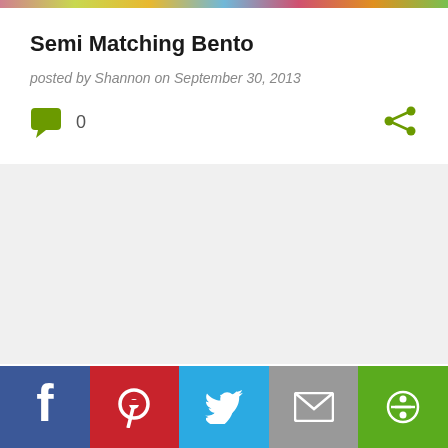[Figure (photo): Colorful image strip at top of page]
Semi Matching Bento
posted by Shannon on September 30, 2013
[Figure (infographic): Comment bubble icon with count 0 and share icon]
[Figure (infographic): Social sharing bar with Facebook, Pinterest, Twitter, Mail, and More buttons]